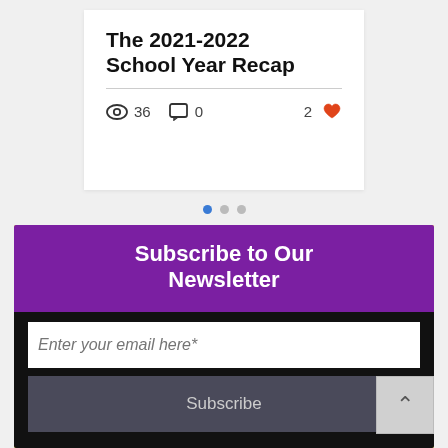The 2021-2022 School Year Recap
36 views · 0 comments · 2 likes
[Figure (other): Carousel navigation dots — 3 dots, first one active (blue), others grey]
Subscribe to Our Newsletter
Enter your email here*
Subscribe